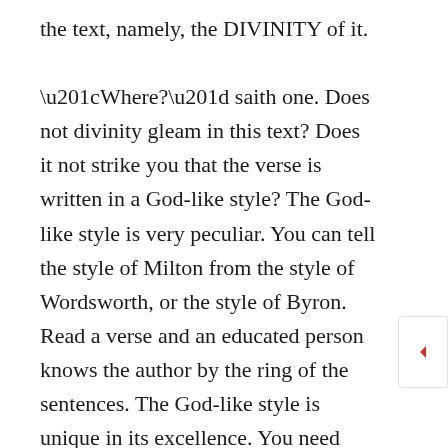the text, namely, the DIVINITY of it.

“Where?” saith one. Does not divinity gleam in this text? Does it not strike you that the verse is written in a God-like style? The God-like style is very peculiar. You can tell the style of Milton from the style of Wordsworth, or the style of Byron. Read a verse and an educated person knows the author by the ring of the sentences. The God-like style is unique in its excellence. You need never put the name at the bottom when the writing is of the Lord. You know it by the very style of